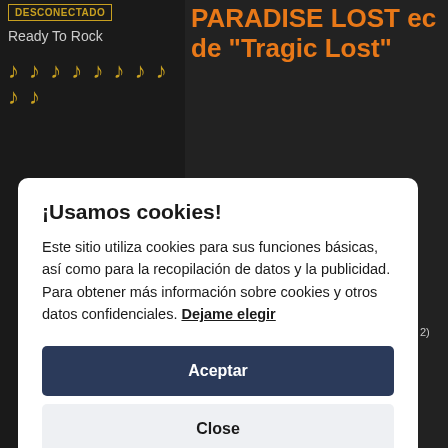DESCONECTADO
Ready To Rock
[Figure (illustration): Row of orange/gold musical note emoji icons]
PARADISE LOST ec de "Tragic Lost"
¡Usamos cookies!
Este sitio utiliza cookies para sus funciones básicas, así como para la recopilación de datos y la publicidad. Para obtener más información sobre cookies y otros datos confidenciales. Dejame elegir
Aceptar
Close
2)
* 180-gram gatefold LP (black vinyl)
* Limited 2-CD box set including:
- Alternative cover artwork in matte/glossy
- CD Diginak, coated in silver foil, imprint